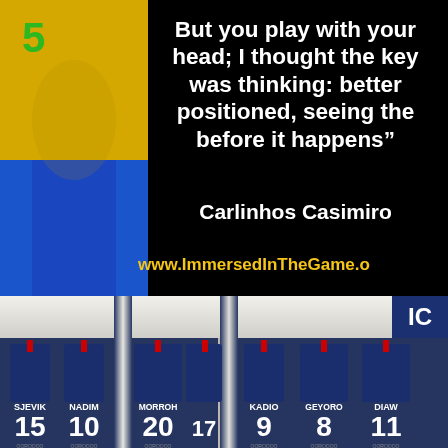[Figure (photo): Top half: Black background with a soccer player wearing yellow Brazil jersey with number 5. Quote text overlaid in white reads: 'But you play with your head; I thought the key was thinking: better positioned, seeing the before it happens"' attributed to Carlinhos Casimiro, with website www.ImmersedInTheGame.o shown in gold. Bottom half: Photo of a locker room with PSG (Paris Saint-Germain) jerseys hanging on hooks numbered 15 SJEVIK, 10 NADIM, 20 MORROH (left side), and 9 KADIO, 8 GEYORO, 11 DIAW (right side).]